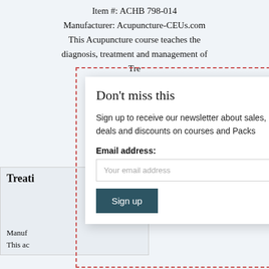Item #: ACHB 798-014
Manufacturer: Acupuncture-CEUs.com
This Acupuncture course teaches the diagnosis, treatment and management of Tre...
Treati...
Manuf...
This ac...
Don't miss this
Sign up to receive our newsletter about sales, deals and discounts on courses and Packs
Email address:
Your email address
Sign up